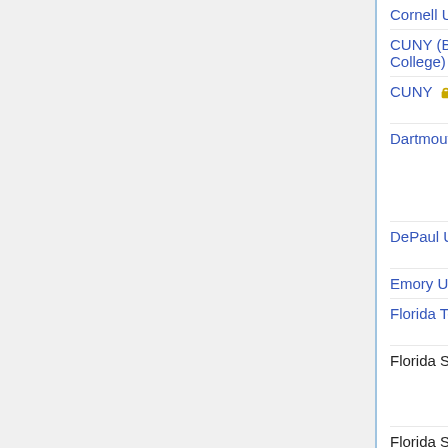| Institution | Type | Deadline | Names |
| --- | --- | --- | --- |
| Cornell U 🔒 | TT | 11/1/2014 |  |
| CUNY (Brooklyn College) 🔒 | TT | 11/15/2014 | Jaco Simo |
| CUNY 🔒 | TT | 12/31/2014 | Matt Hirn |
| Dartmouth C 🔒 | TT | 12/15/2014 | Alyse Fletc Nate Stra ..., □ |
| DePaul U 🔒 | TT | 1/10/2015 | Fran Celle (strikethrough) |
| Emory U (s) 🔒* |  | Feb 15 |  |
| Florida Tech 🔒 | TT | 1/10/2015 | Fran Celle (strikethrough) |
| Florida St | TT math |  | Xing Hele ... |
| Florida St | TT sc |  | Xing Zhon |
| Georgia St 🔒* |  |  |  |